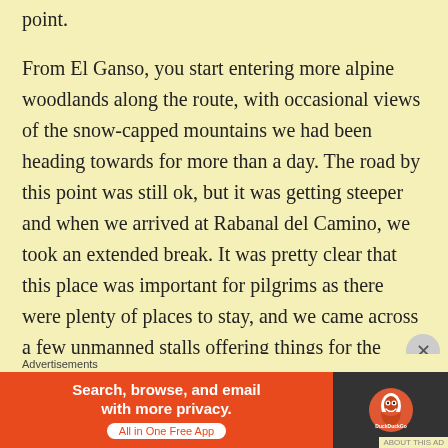point.
From El Ganso, you start entering more alpine woodlands along the route, with occasional views of the snow-capped mountains we had been heading towards for more than a day. The road by this point was still ok, but it was getting steeper and when we arrived at Rabanal del Camino, we took an extended break. It was pretty clear that this place was important for pilgrims as there were plenty of places to stay, and we came across a few unmanned stalls offering things for the journey in return for a donation, like shells and handmade necklaces. That is something you should expect to see when doing this, and locals may offer things to you in person
Advertisements
[Figure (infographic): DuckDuckGo advertisement banner: orange left side with text 'Search, browse, and email with more privacy. All in One Free App', dark right side with DuckDuckGo duck logo]